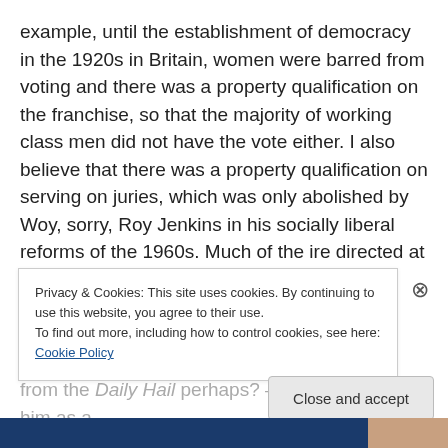example, until the establishment of democracy in the 1920s in Britain, women were barred from voting and there was a property qualification on the franchise, so that the majority of working class men did not have the vote either. I also believe that there was a property qualification on serving on juries, which was only abolished by Woy, sorry, Roy Jenkins in his socially liberal reforms of the 1960s. Much of the ire directed at Jenkins from the right comes from his decriminalisation of homosexuality and his relaxation of the divorce laws. One splenetic right-winger- from the Daily Hail perhaps? — once described him as a
Privacy & Cookies: This site uses cookies. By continuing to use this website, you agree to their use.
To find out more, including how to control cookies, see here: Cookie Policy
Close and accept